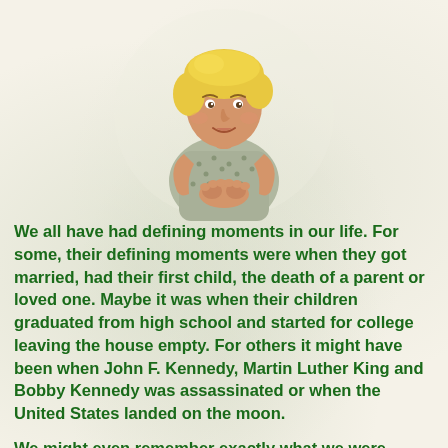[Figure (illustration): Illustration of a woman with blonde hair, wearing a patterned sleeveless top, with hands clasped near her face in a thoughtful or concerned pose.]
We all have had defining moments in our life. For some, their defining moments were when they got married, had their first child, the death of a parent or loved one. Maybe it was when their children graduated from high school and started for college leaving the house empty. For others it might have been when John F. Kennedy, Martin Luther King and Bobby Kennedy was assassinated or when the United States landed on the moon.
We might even remember exactly what we were doing when these events occurred. I distinctly remembered what I was doing when J. F. Kennedy was assassinated. My Mom was washing my hair